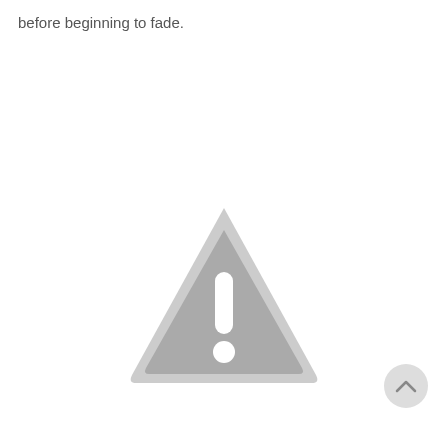before beginning to fade.
[Figure (illustration): A warning/caution triangle icon with rounded corners, gray fill, white border inside, and a white exclamation mark (! with dot) in the center. The triangle points upward.]